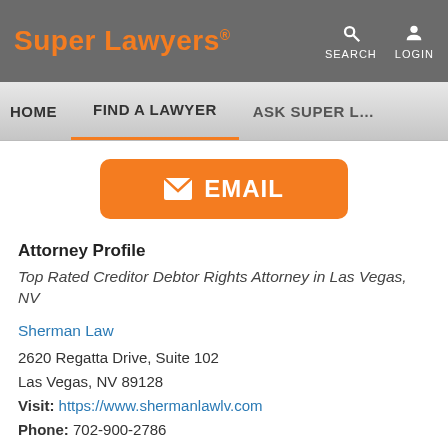Super Lawyers® — SEARCH  LOGIN
HOME   FIND A LAWYER   ASK SUPER L…
[Figure (other): Orange EMAIL button with envelope icon]
Attorney Profile
Top Rated Creditor Debtor Rights Attorney in Las Vegas, NV
Sherman Law
2620 Regatta Drive, Suite 102
Las Vegas, NV 89128
Visit: https://www.shermanlawlv.com
Phone: 702-900-2786